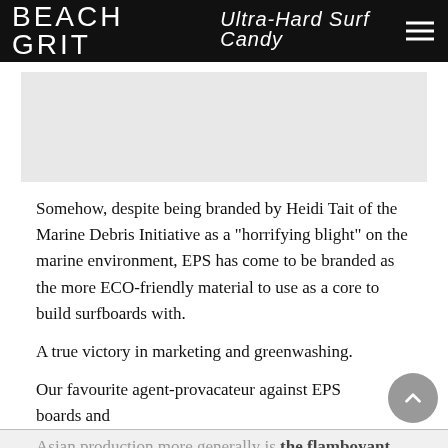BEACH GRIT Ultra-Hard Surf Candy
[Figure (photo): Light grey image placeholder rectangle]
Somehow, despite being branded by Heidi Tait of the Marine Debris Initiative as a “horrifing blight” on the marine environment, EPS has come to be branded as the more ECO-friendly material to use as a core to build surfboards with.
A true victory in marketing and greenwashing.
Our favourite agent-provacateur against EPS boards and Asian production more generally is the flamboyant Peter Schroff, who built his empire in the 80’s. He is not Robinson Crusoe, of course.